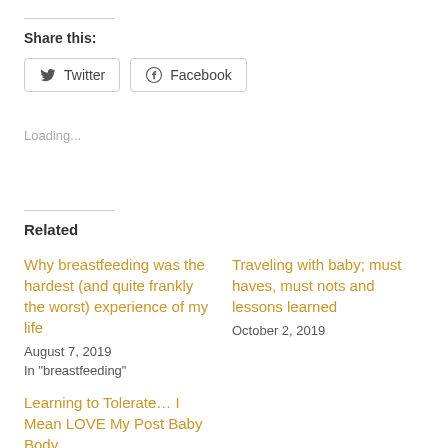Share this:
Twitter  Facebook
Loading...
Related
Why breastfeeding was the hardest (and quite frankly the worst) experience of my life
August 7, 2019
In "breastfeeding"
Traveling with baby; must haves, must nots and lessons learned
October 2, 2019
Learning to Tolerate... I Mean LOVE My Post Baby Body
September 11, 2019